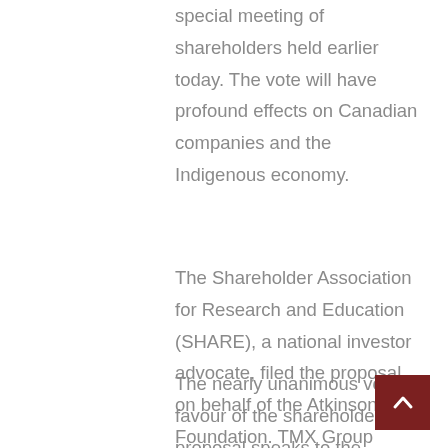special meeting of shareholders held earlier today. The vote will have profound effects on Canadian companies and the Indigenous economy.
The Shareholder Association for Research and Education (SHARE), a national investor advocate, filed the proposal on behalf of the Atkinson Foundation. TMX Group made history when the company announced it would recommend a vote in favour of an amended version of the proposal.  This is the first time a proposal on reconciliation has ever been jointly endorsed by the board of directors of a Canadian company.
The nearly unanimous vote in favour of the shareholder proposal speaks to the